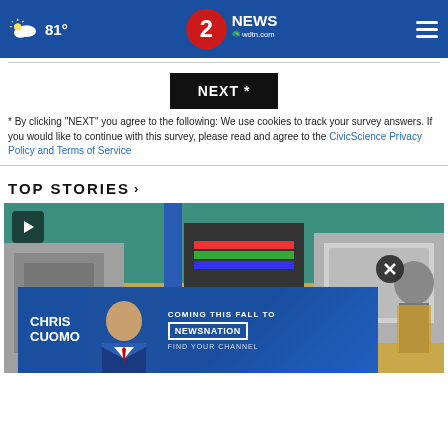81° | 2 NEWS wdtn.com
NEXT *
* By clicking "NEXT" you agree to the following: We use cookies to track your survey answers. If you would like to continue with this survey, please read and agree to the CivicScience Privacy Policy and Terms of Service
TOP STORIES ›
[Figure (screenshot): Video thumbnail showing a school cafeteria or food service area with machinery and equipment]
[Figure (advertisement): Chris Cuomo coming this fall to NewsNation advertisement banner]